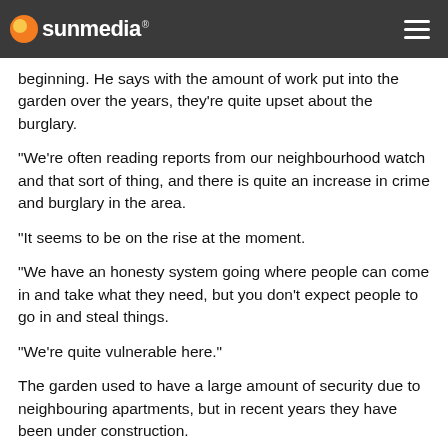sunmedia
beginning. He says with the amount of work put into the garden over the years, they're quite upset about the burglary.
“We’re often reading reports from our neighbourhood watch and that sort of thing, and there is quite an increase in crime and burglary in the area.
“It seems to be on the rise at the moment.
“We have an honesty system going where people can come in and take what they need, but you don’t expect people to go in and steal things.
“We’re quite vulnerable here.”
The garden used to have a large amount of security due to neighbouring apartments, but in recent years they have been under construction.
[Figure (photo): Street scene with a yellow bus on the left and bare winter trees in the background, person in red visible in center]